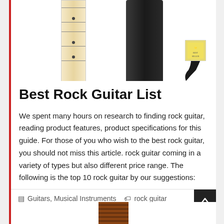[Figure (photo): Guitar neck, guitar bag, guitar strap accessories and small logo image]
Best Rock Guitar List
We spent many hours on research to finding rock guitar, reading product features, product specifications for this guide. For those of you who wish to the best rock guitar, you should not miss this article. rock guitar coming in a variety of types but also different price range. The following is the top 10 rock guitar by our suggestions:
Guitars, Musical Instruments   rock guitar
[Figure (photo): Bottom portion of a second card showing a brown wood-textured image]